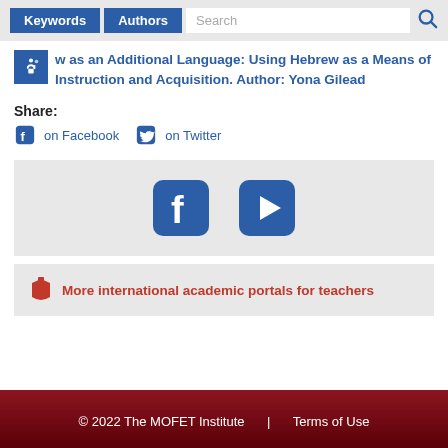Keywords | Authors | Search
w as an Additional Language: Using Hebrew as a Means of Instruction and Acquisition. Author: Yona Gilead
Share:
on Facebook  on Twitter
[Figure (logo): Facebook and YouTube social media icons in a gray box]
More international academic portals for teachers
© 2022 The MOFET Institute  |  Terms of Use